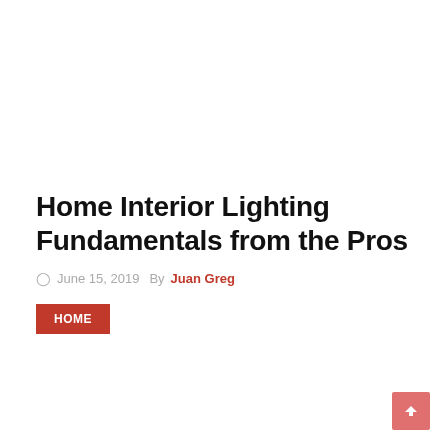Home Interior Lighting Fundamentals from the Pros
June 15, 2019  By Juan Greg
HOME